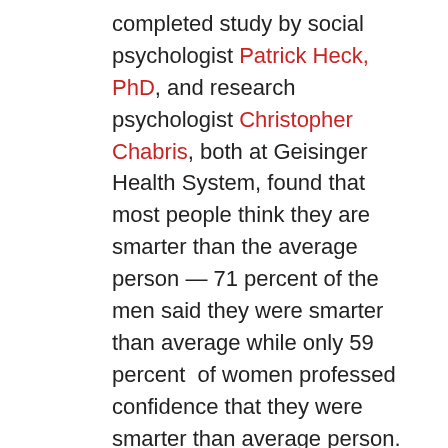completed study by social psychologist Patrick Heck, PhD, and research psychologist Christopher Chabris, both at Geisinger Health System, found that most people think they are smarter than the average person — 71 percent of the men said they were smarter than average while only 59 percent of women professed confidence that they were smarter than average person. That number increased to 73 percent for people with graduate degrees.
Over the past 24 months we have interviewed some very smart people with degrees from top schools. Many work for successful organizations and have impressive levels of accomplishment, but that record and their confidence in their